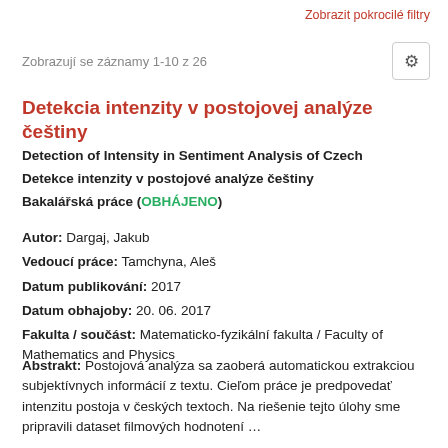Zobrazit pokrocilé filtry
Zobrazují se záznamy 1-10 z 26
Detekcia intenzity v postojovej analýze češtiny
Detection of Intensity in Sentiment Analysis of Czech
Detekce intenzity v postojové analýze češtiny
Bakalářská práce (OBHÁJENO)
Autor: Dargaj, Jakub
Vedoucí práce: Tamchyna, Aleš
Datum publikování: 2017
Datum obhajoby: 20. 06. 2017
Fakulta / součást: Matematicko-fyzikální fakulta / Faculty of Mathematics and Physics
Abstrakt: Postojová analýza sa zaoberá automatickou extrakciou subjektívnych informácií z textu. Cieľom práce je predpovedať intenzitu postoja v českých textoch. Na riešenie tejto úlohy sme pripravili dataset filmových hodnotení …